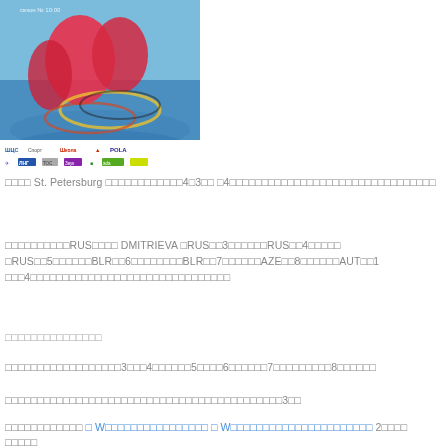[Figure (photo): Rhythmic gymnastics promotional poster showing gymnasts in pink costumes with hoops against a blue sky/water background, with sponsor logos at the bottom including LDC, SportInvest, POLA and others]
St. Petersburg 43 4
RUS DMITRIEVA RUS 3 RUS 4 RUS 5 BLR 6 BLR 7 AZE 8 AUT 1 4
3 4 5 6 7 8
3
W W 2